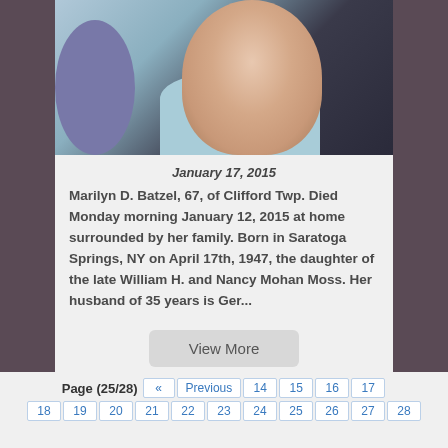[Figure (photo): Portrait photo of an elderly woman wearing a light blue top, with dark background]
January 17, 2015
Marilyn D. Batzel, 67, of Clifford Twp. Died Monday morning January 12, 2015 at home surrounded by her family. Born in Saratoga Springs, NY on April 17th, 1947, the daughter of the late William H. and Nancy Mohan Moss. Her husband of 35 years is Ger...
View More
Page (25/28) « Previous 14 15 16 17 18 19 20 21 22 23 24 25 26 27 28